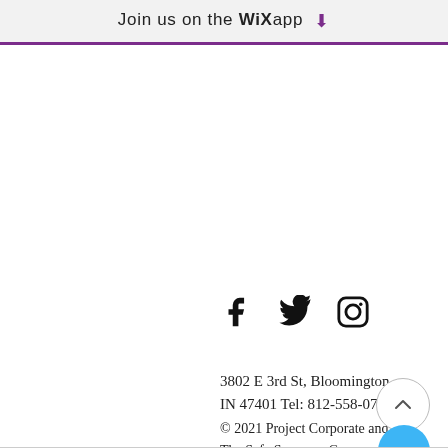Join us on the WiX app ⬇
[Figure (other): Social media icons: Facebook, Twitter, Instagram]
3802 E 3rd St, Bloomington IN 47401 Tel: 812-558-0799
© 2021 Project Corporate and The Safe Sponsors Group